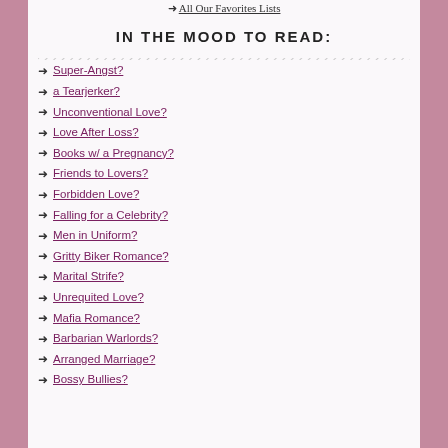All Our Favorites Lists
IN THE MOOD TO READ:
Super-Angst?
a Tearjerker?
Unconventional Love?
Love After Loss?
Books w/ a Pregnancy?
Friends to Lovers?
Forbidden Love?
Falling for a Celebrity?
Men in Uniform?
Gritty Biker Romance?
Marital Strife?
Unrequited Love?
Mafia Romance?
Barbarian Warlords?
Arranged Marriage?
Bossy Bullies?